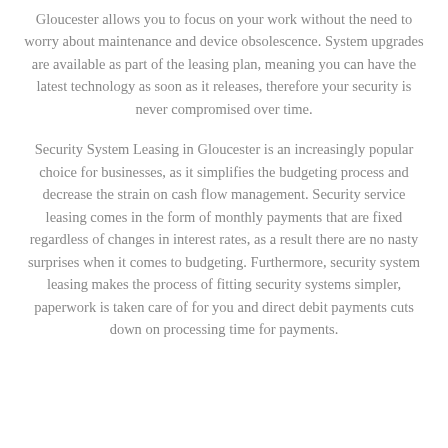Gloucester allows you to focus on your work without the need to worry about maintenance and device obsolescence. System upgrades are available as part of the leasing plan, meaning you can have the latest technology as soon as it releases, therefore your security is never compromised over time.
Security System Leasing in Gloucester is an increasingly popular choice for businesses, as it simplifies the budgeting process and decrease the strain on cash flow management. Security service leasing comes in the form of monthly payments that are fixed regardless of changes in interest rates, as a result there are no nasty surprises when it comes to budgeting. Furthermore, security system leasing makes the process of fitting security systems simpler, paperwork is taken care of for you and direct debit payments cuts down on processing time for payments.